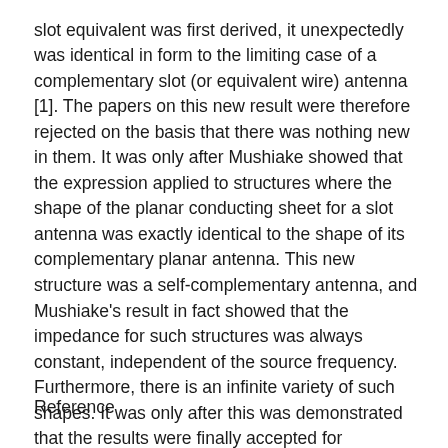slot equivalent was first derived, it unexpectedly was identical in form to the limiting case of a complementary slot (or equivalent wire) antenna [1]. The papers on this new result were therefore rejected on the basis that there was nothing new in them. It was only after Mushiake showed that the expression applied to structures where the shape of the planar conducting sheet for a slot antenna was exactly identical to the shape of its complementary planar antenna. This new structure was a self-complementary antenna, and Mushiake's result in fact showed that the impedance for such structures was always constant, independent of the source frequency. Furthermore, there is an infinite variety of such shapes. It was only after this was demonstrated that the results were finally accepted for publication and their significance was recognized.
Reference